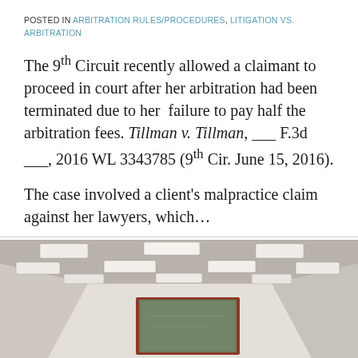POSTED IN ARBITRATION RULES/PROCEDURES, LITIGATION VS. ARBITRATION
The 9th Circuit recently allowed a claimant to proceed in court after her arbitration had been terminated due to her failure to pay half the arbitration fees. Tillman v. Tillman, ___ F.3d ___, 2016 WL 3343785 (9th Cir. June 15, 2016).
The case involved a client's malpractice claim against her lawyers, which...
[Figure (photo): Interior photo of a room with a drop ceiling featuring rectangular fluorescent light panels, white walls, and a green chalkboard framed in dark wood on the far wall.]